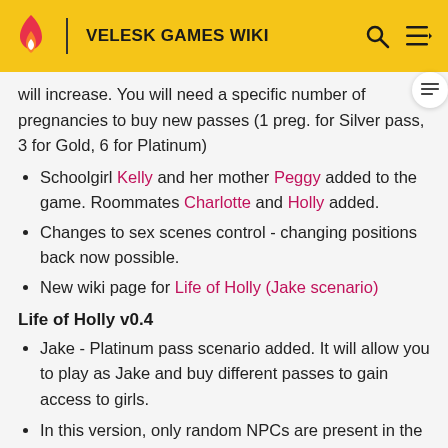VELESK GAMES WIKI
will increase. You will need a specific number of pregnancies to buy new passes (1 preg. for Silver pass, 3 for Gold, 6 for Platinum)
Schoolgirl Kelly and her mother Peggy added to the game. Roommates Charlotte and Holly added.
Changes to sex scenes control - changing positions back now possible.
New wiki page for Life of Holly (Jake scenario)
Life of Holly v0.4
Jake - Platinum pass scenario added. It will allow you to play as Jake and buy different passes to gain access to girls.
In this version, only random NPCs are present in the game and you can have scene with all of them (if